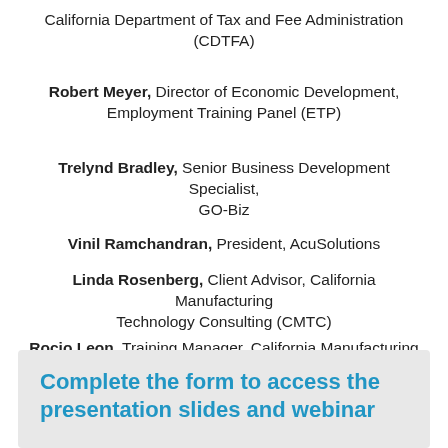California Department of Tax and Fee Administration (CDTFA)
Robert Meyer, Director of Economic Development, Employment Training Panel (ETP)
Trelynd Bradley, Senior Business Development Specialist, GO-Biz
Vinil Ramchandran, President, AcuSolutions
Linda Rosenberg, Client Advisor, California Manufacturing Technology Consulting (CMTC)
Rocio Leon, Training Manager, California Manufacturing Technology Consulting (CMTC)
Complete the form to access the presentation slides and webinar